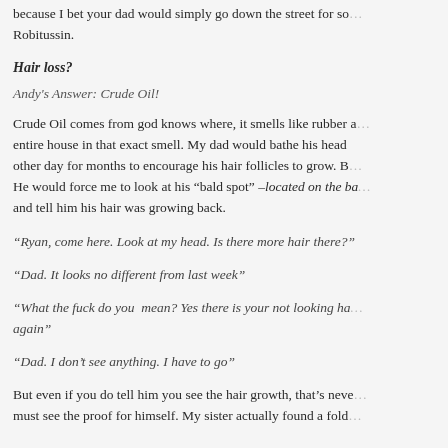because I bet your dad would simply go down the street for so... Robitussin.
Hair loss?
Andy's Answer: Crude Oil!
Crude Oil comes from god knows where, it smells like rubber a... entire house in that exact smell. My dad would bathe his head... other day for months to encourage his hair follicles to grow. B... He would force me to look at his "bald spot" –located on the ba... and tell him his hair was growing back.
"Ryan, come here. Look at my head. Is there more hair there?"
"Dad. It looks no different from last week"
"What the fuck do you  mean? Yes there is your not looking ha... again"
"Dad. I don't see anything. I have to go"
But even if you do tell him you see the hair growth, that's neve... must see the proof for himself. My sister actually found a fold...